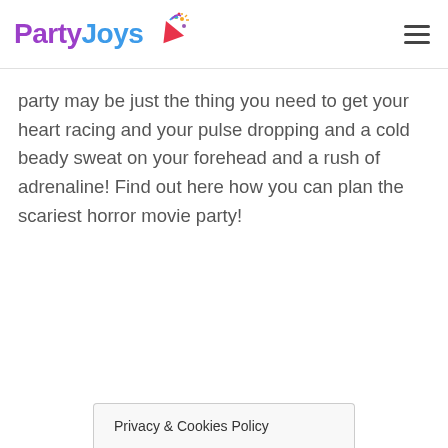PartyJoys
party may be just the thing you need to get your heart racing and your pulse dropping and a cold beady sweat on your forehead and a rush of adrenaline! Find out here how you can plan the scariest horror movie party!
Privacy & Cookies Policy